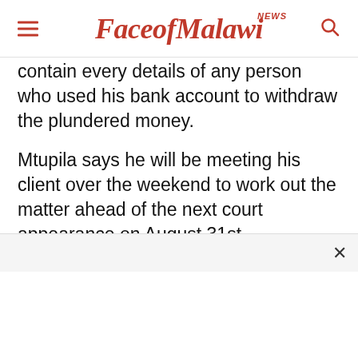FaceofMalawi NEWS
contain every details of any person who used his bank account to withdraw the plundered money.
Mtupila says he will be meeting his client over the weekend to work out the matter ahead of the next court appearance on August 31st.